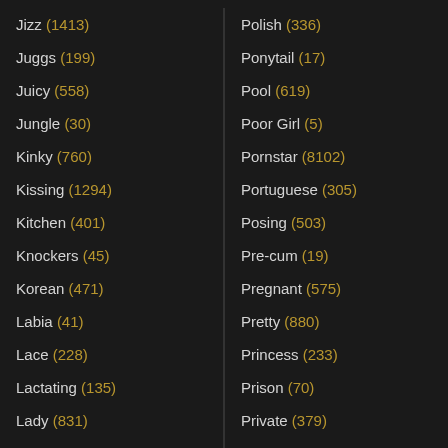Jizz (1413)
Juggs (199)
Juicy (558)
Jungle (30)
Kinky (760)
Kissing (1294)
Kitchen (401)
Knockers (45)
Korean (471)
Labia (41)
Lace (228)
Lactating (135)
Lady (831)
Ladyboy (857)
Lap Dance (111)
Latex (1218)
Polish (336)
Ponytail (17)
Pool (619)
Poor Girl (5)
Pornstar (8102)
Portuguese (305)
Posing (503)
Pre-cum (19)
Pregnant (575)
Pretty (880)
Princess (233)
Prison (70)
Private (379)
Prolapse (54)
Prostate (61)
Prostate Massage (32)